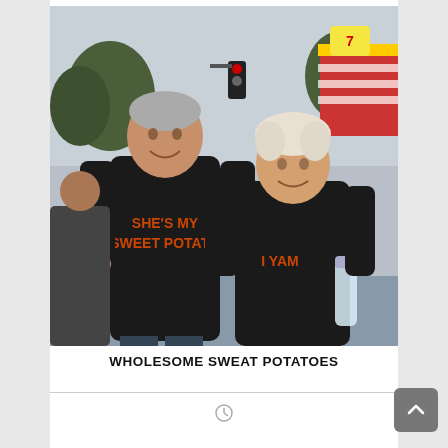[Figure (photo): An elderly couple standing together outdoors at what appears to be a fair or festival. The man on the left wears a black t-shirt with orange text reading 'SHE'S MY SWEET POTATO'. The woman on the right wears a black t-shirt with orange text reading 'I YAM'. She is holding a water bottle. Background shows trees, traffic lights, and fair booths.]
WHOLESOME SWEAT POTATOES